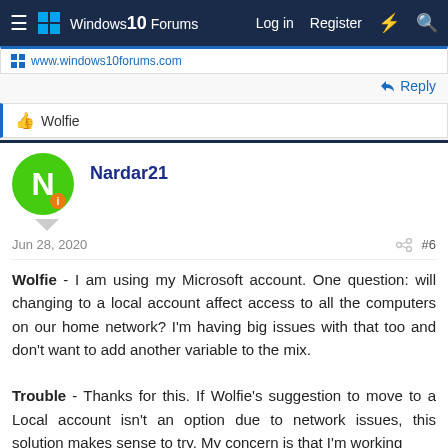Windows 10 Forums — Log in | Register
www.windows10forums.com
Reply
👍 Wolfie
Nardar21
Jun 28, 2020   #6
Wolfie - I am using my Microsoft account. One question: will changing to a local account affect access to all the computers on our home network? I'm having big issues with that too and don't want to add another variable to the mix.

Trouble - Thanks for this. If Wolfie's suggestion to move to a Local account isn't an option due to network issues, this solution makes sense to try. My concern is that I'm working